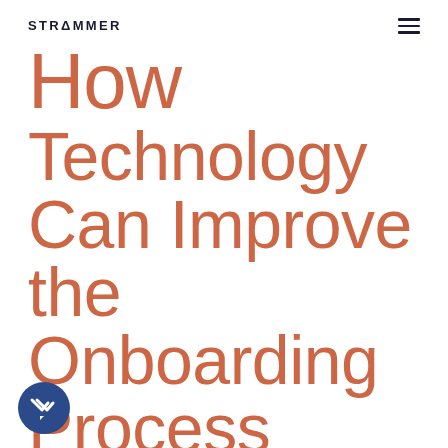STRAMMER
How Technology Can Improve the Onboarding Process
[Figure (logo): Blue circular chat/messaging badge icon with double checkmark symbol]